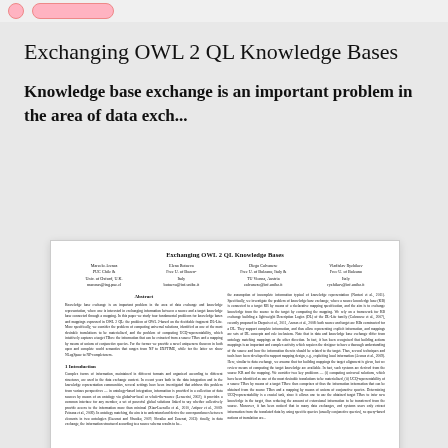Exchanging OWL 2 QL Knowledge Bases
Knowledge base exchange is an important problem in the area of data exch...
[Figure (screenshot): Thumbnail of academic paper titled 'Exchanging OWL 2 QL Knowledge Bases' showing authors (Marcelo Arenas, Elena Botoeva, Diego Calvanese, Vladislav Ryzhikov), an abstract section, and beginning of introduction section.]